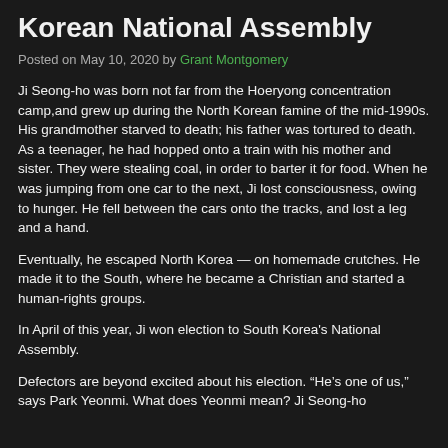Korean National Assembly
Posted on May 10, 2020 by Grant Montgomery
Ji Seong-ho was born not far from the Hoeryong concentration camp,and grew up during the North Korean famine of the mid-1990s. His grandmother starved to death; his father was tortured to death. As a teenager, he had hopped onto a train with his mother and sister. They were stealing coal, in order to barter it for food. When he was jumping from one car to the next, Ji lost consciousness, owing to hunger. He fell between the cars onto the tracks, and lost a leg and a hand.
Eventually, he escaped North Korea — on homemade crutches. He made it to the South, where he became a Christian and started a human-rights groups.
In April of this year, Ji won election to South Korea's National Assembly.
Defectors are beyond excited about his election. “He’s one of us,” says Park Yeonmi. What does Yeonmi mean? Ji Seong-ho